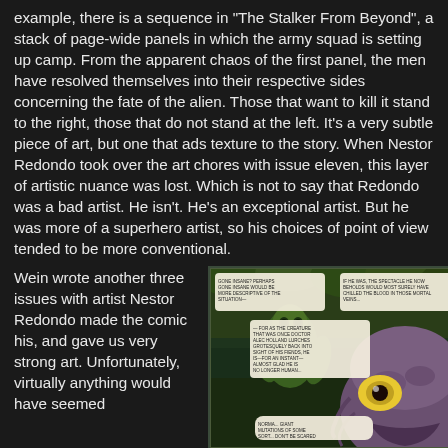example, there is a sequence in "The Stalker From Beyond", a stack of page-wide panels in which the army squad is setting up camp. From the apparent chaos of the first panel, the men have resolved themselves into their respective sides concerning the fate of the alien. Those that want to kill it stand to the right, those that do not stand at the left. It's a very subtle piece of art, but one that ads texture to the story. When Nestor Redondo took over the art chores with issue eleven, this layer of artistic nuance was lost. Which is not to say that Redondo was a bad artist. He isn't. He's an exceptional artist. But he was more of a superhero artist, so his choices of point of view tended to be more conventional.
Wein wrote another three issues with artist Nestor Redondo made the comic his, and gave us very strong art. Unfortunately, virtually anything would have seemed
[Figure (illustration): A comic book panel showing a large alien/creature face in the foreground (purple/grey, with a large eye), and a green swamp creature in the background. There are speech bubbles with text. The scene appears to be set in a swamp or jungle environment.]